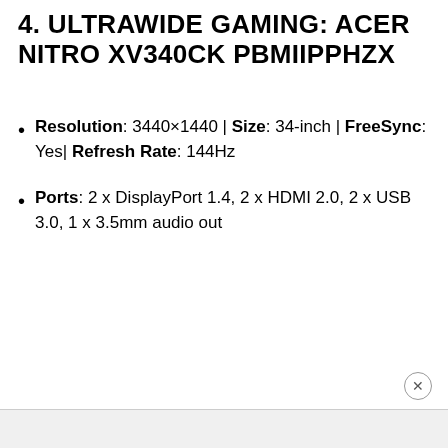4. ULTRAWIDE GAMING: ACER NITRO XV340CK PBMIIPPHZX
Resolution: 3440×1440 | Size: 34-inch | FreeSync: Yes| Refresh Rate: 144Hz
Ports: 2 x DisplayPort 1.4, 2 x HDMI 2.0, 2 x USB 3.0, 1 x 3.5mm audio out